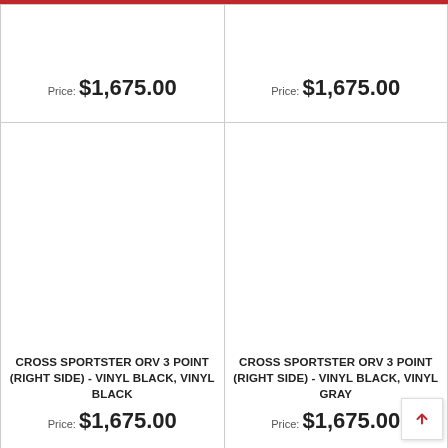| Product | Product |
| --- | --- |
| (name cut off) Price: $1,675.00 | (name cut off) Price: $1,675.00 |
| CROSS SPORTSTER ORV 3 POINT (RIGHT SIDE) - VINYL BLACK, VINYL BLACK
Price: $1,675.00 | CROSS SPORTSTER ORV 3 POINT (RIGHT SIDE) - VINYL BLACK, VINYL GRAY
Price: $1,675.00 |
|  |  |